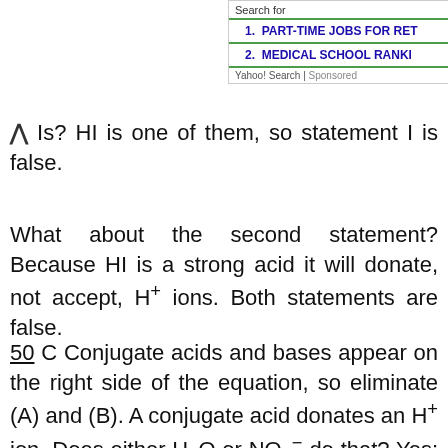[Figure (screenshot): Advertisement bar showing Yahoo! Search sponsored results: 1. PART-TIME JOBS FOR RET... 2. MEDICAL SCHOOL RANKI...]
Is? HI is one of them, so statement I is false.
What about the second statement? Because HI is a strong acid it will donate, not accept, H+ ions. Both statements are false.
50 C Conjugate acids and bases appear on the right side of the equation, so eliminate (A) and (B). A conjugate acid donates an H+ ion. Does either H2O or NO3- do that? Yes: H2O donates an H+ ion